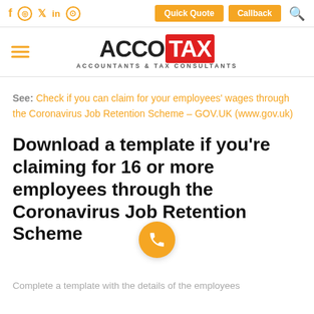Social icons | Quick Quote | Callback | Search
[Figure (logo): AccoTax logo — ACCO in black, TAX in white on red background, with tagline ACCOUNTANTS & TAX CONSULTANTS]
See: Check if you can claim for your employees' wages through the Coronavirus Job Retention Scheme – GOV.UK (www.gov.uk)
Download a template if you're claiming for 16 or more employees through the Coronavirus Job Retention Scheme
Complete a template with the details of the employees